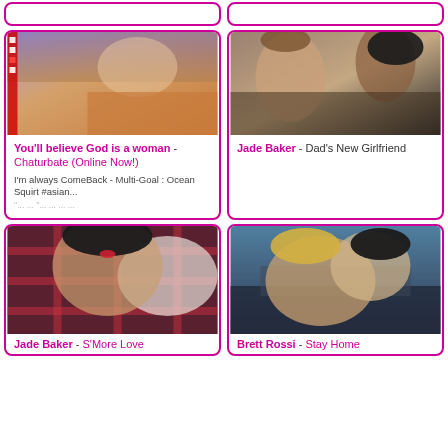[Figure (photo): Empty card top left, pink border]
[Figure (photo): Empty card top right, pink border]
[Figure (photo): Thumbnail image - redhead woman close-up]
You'll believe God is a woman - Chaturbate (Online Now!)
I'm always ComeBack - Multi-Goal : Ocean Squirt #asian...
[Figure (photo): Thumbnail image - two women]
Jade Baker - Dad's New Girlfriend
[Figure (photo): Thumbnail image - dark haired woman]
Jade Baker - S'More Love
[Figure (photo): Thumbnail image - two women together]
Brett Rossi - Stay Home